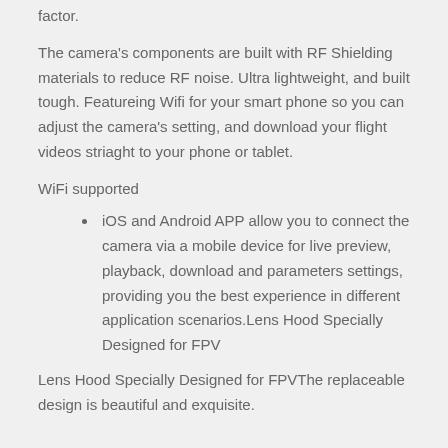factor.
The camera's components are built with RF Shielding materials to reduce RF noise. Ultra lightweight, and built tough. Featureing Wifi for your smart phone so you can adjust the camera's setting, and download your flight videos striaght to your phone or tablet.
WiFi supported
iOS and Android APP allow you to connect the camera via a mobile device for live preview, playback, download and parameters settings, providing you the best experience in different application scenarios.Lens Hood Specially Designed for FPV
Lens Hood Specially Designed for FPVThe replaceable design is beautiful and exquisite.